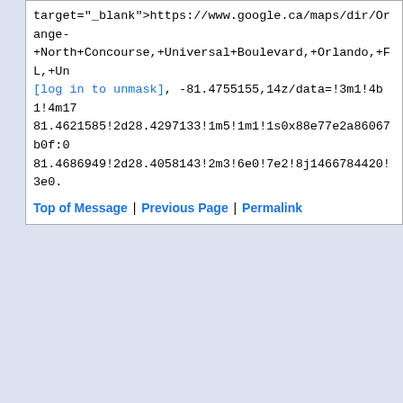target="_blank">https://www.google.ca/maps/dir/Orange-+North+Concourse,+Universal+Boulevard,+Orlando,+FL,+Un[log in to unmask], -81.4755155,14z/data=!3m1!4b1!4m18!4m1781.4621585!2d28.4297133!1m5!1m1!1s0x88e77e2a86067b0f:081.4686949!2d28.4058143!2m3!6e0!7e2!8j1466784420!3e0.
Top of Message | Previous Page | Permalink